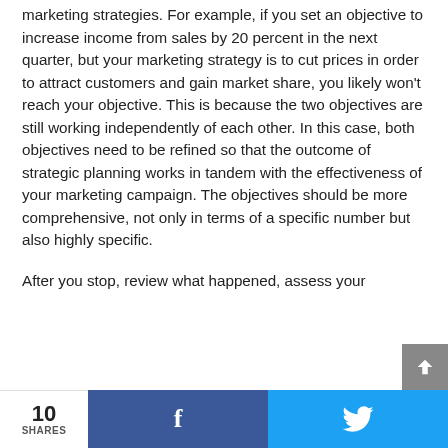marketing strategies. For example, if you set an objective to increase income from sales by 20 percent in the next quarter, but your marketing strategy is to cut prices in order to attract customers and gain market share, you likely won't reach your objective. This is because the two objectives are still working independently of each other. In this case, both objectives need to be refined so that the outcome of strategic planning works in tandem with the effectiveness of your marketing campaign. The objectives should be more comprehensive, not only in terms of a specific number but also highly specific.
After you stop, review what happened, assess your
10 SHARES | f | 🐦